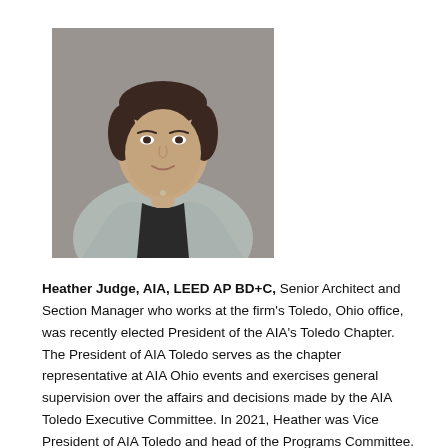[Figure (photo): Professional headshot of Heather Judge, a woman with short dark hair wearing a black top and light gray blazer, photographed against a gray background.]
Heather Judge, AIA, LEED AP BD+C, Senior Architect and Section Manager who works at the firm's Toledo, Ohio office, was recently elected President of the AIA's Toledo Chapter. The President of AIA Toledo serves as the chapter representative at AIA Ohio events and exercises general supervision over the affairs and decisions made by the AIA Toledo Executive Committee. In 2021, Heather was Vice President of AIA Toledo and head of the Programs Committee. Prior to that, she served as the Alternate Director for AIA Ohio. She